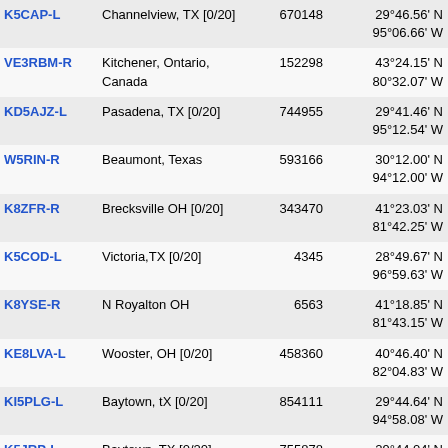| Callsign | Location | ID | Coordinates | Grid |  |
| --- | --- | --- | --- | --- | --- |
| K5CAP-L | Channelview, TX [0/20] | 670148 | 29°46.56' N
95°06.66' W | EL29ks | 1 |
| VE3RBM-R | Kitchener, Ontario, Canada | 152298 | 43°24.15' N
80°32.07' W | EN93rj | 1 |
| KD5AJZ-L | Pasadena, TX [0/20] | 744955 | 29°41.46' N
95°12.54' W | EL29jq | 1 |
| W5RIN-R | Beaumont, Texas | 593166 | 30°12.00' N
94°12.00' W | EM20ve | 1 |
| K8ZFR-R | Brecksville OH [0/20] | 343470 | 41°23.03' N
81°42.25' W | EN91dj | 1 |
| K5COD-L | Victoria,TX [0/20] | 4345 | 28°49.67' N
96°59.63' W | EL18mt | 1 |
| K8YSE-R | N Royalton OH | 6563 | 41°18.85' N
81°43.15' W | EN91dh | 1 |
| KE8LVA-L | Wooster, OH [0/20] | 458360 | 40°46.40' N
82°04.83' W | EN80xs | 1 |
| KI5PLG-L | Baytown, tX [0/20] | 854111 | 29°44.64' N
94°58.08' W | EL29mr | 1 |
| K5JRP-L | Baytown, TX [0/20] | 755878 | 29°44.04' N
94°58.62' W | EL29mr | 1 |
| W4RAR-L | Winchester, KY [0/20] | 766749 | 37°59.34' N | EM77vx |  |